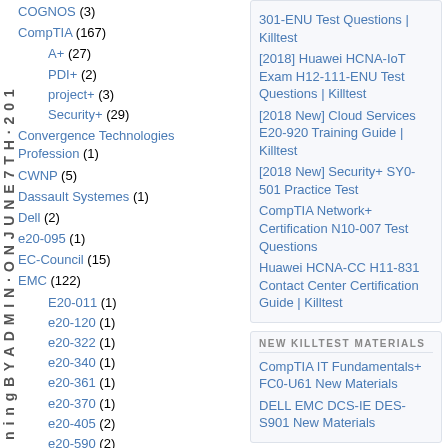COGNOS (3)
CompTIA (167)
A+ (27)
PDI+ (2)
project+ (3)
Security+ (29)
Convergence Technologies Profession (1)
CWNP (5)
Dassault Systemes (1)
Dell (2)
e20-095 (1)
EC-Council (15)
EMC (122)
E20-011 (1)
e20-120 (1)
e20-322 (1)
e20-340 (1)
e20-361 (1)
e20-370 (1)
e20-405 (2)
e20-590 (2)
301-ENU Test Questions | Killtest
[2018] Huawei HCNA-IoT Exam H12-111-ENU Test Questions | Killtest
[2018 New] Cloud Services E20-920 Training Guide | Killtest
[2018 New] Security+ SY0-501 Practice Test
CompTIA Network+ Certification N10-007 Test Questions
Huawei HCNA-CC H11-831 Contact Center Certification Guide | Killtest
NEW KILLTEST MATERIALS
CompTIA IT Fundamentals+ FC0-U61 New Materials
DELL EMC DCS-IE DES-S901 New Materials